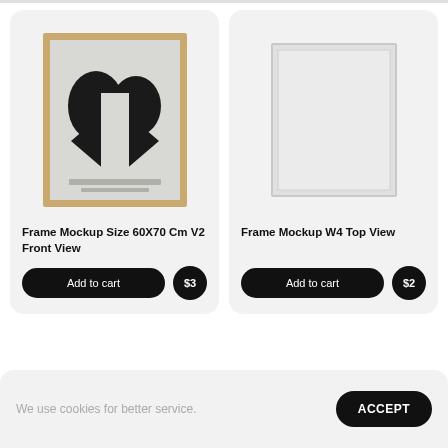[Figure (illustration): Product card: Frame Mockup Size 60X70 Cm V2 Front View with gold-framed artwork showing abstract black shapes on grey background, priced at $3]
[Figure (illustration): Product card: Frame Mockup W4 Top View showing a plain white/light grey framed canvas, priced at $2]
We use cookies for better service.